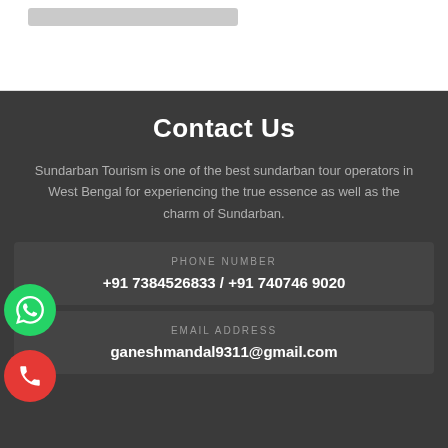[Figure (screenshot): Partial top card/image snippet visible at top of page]
Contact Us
Sundarban Tourism is one of the best sundarban tour operators in West Bengal for experiencing the true essence as well as the charm of Sundarban.
PHONE NUMBER
+91 7384526833 / +91 740746 9020
EMAIL ADDRESS
ganeshmandal9311@gmail.com
[Figure (logo): WhatsApp icon in green circle button]
[Figure (logo): Phone icon in red circle button]